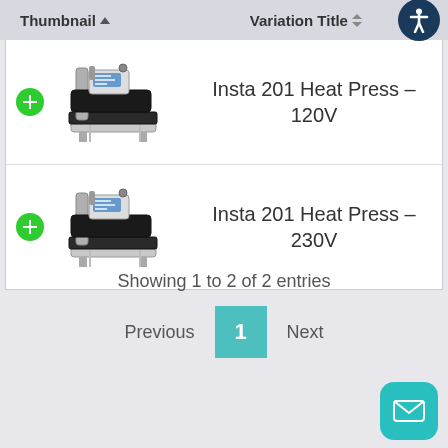| Thumbnail | Variation Title |
| --- | --- |
| [image: heat press machine] | Insta 201 Heat Press – 120V |
| [image: heat press machine] | Insta 201 Heat Press – 230V |
Showing 1 to 2 of 2 entries
Previous  1  Next